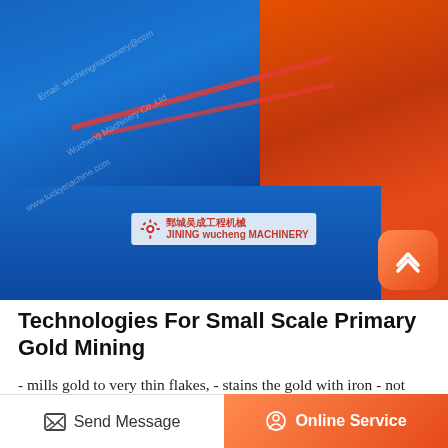[Figure (photo): Industrial blue and orange mining equipment (flotation machine or similar) with red pipes/cables, manufacturer logo overlay in center, scroll-to-top button in bottom right corner]
Technologies For Small Scale Primary Gold Mining
- mills gold to very thin flakes, - stains the gold with iron - not good for batch processing - in non-mining countries, balls difficult to find - high investment costs compared to capacity Ball mill
Send Message | Online Service